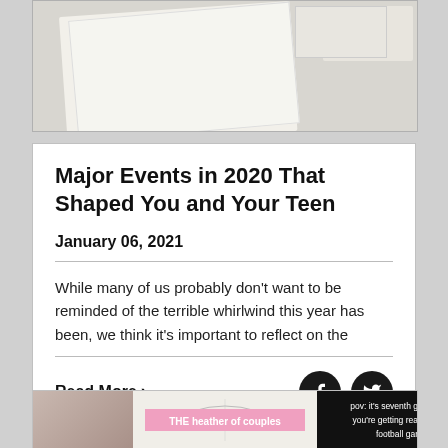[Figure (photo): Top portion of a photo showing a planner/notebook with a pen, on a desk]
Major Events in 2020 That Shaped You and Your Teen
January 06, 2021
While many of us probably don't want to be reminded of the terrible whirlwind this year has been, we think it's important to reflect on the
Read More ›
[Figure (screenshot): Bottom card showing TikTok/social media video thumbnails: a girl, 'THE heather of couples' text on pink background, and dark overlay reading 'pov: it's seventh g... you're getting rea... football gar...']